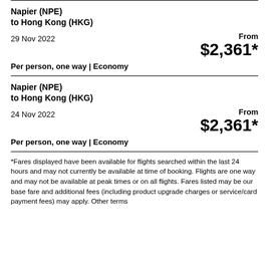Napier (NPE) to Hong Kong (HKG)
29 Nov 2022
Per person, one way | Economy
From $2,361*
Napier (NPE) to Hong Kong (HKG)
24 Nov 2022
Per person, one way | Economy
From $2,361*
*Fares displayed have been available for flights searched within the last 24 hours and may not currently be available at time of booking. Flights are one way and may not be available at peak times or on all flights. Fares listed may be our base fare and additional fees (including product upgrade charges or service/card payment fees) may apply. Other terms